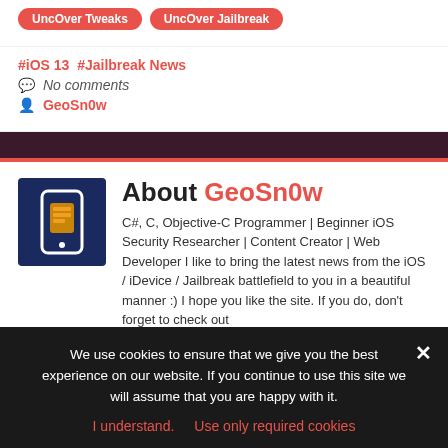UncOver Tweaks  UncOver Jailbreak
#iOS 13  #Jailbreak News
No comments
GeoSn0w
About GeoSn0w
[Figure (logo): Dark blue square with a white phone outline and gold/yellow Cydia box logo icon]
C#, C, Objective-C Programmer | Beginner iOS Security Researcher | Content Creator | Web Developer I like to bring the latest news from the iOS / iDevice / Jailbreak battlefield to you in a beautiful manner :) I hope you like the site. If you do, don't forget to check out
We use cookies to ensure that we give you the best experience on our website. If you continue to use this site we will assume that you are happy with it.
I understand.  Use only required cookies